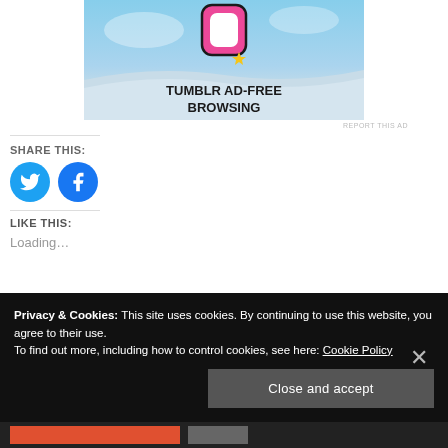[Figure (illustration): Tumblr Ad-Free Browsing advertisement banner with sky background and Tumblr logo icon]
REPORT THIS AD
SHARE THIS:
[Figure (logo): Twitter share button (blue circle with bird icon)]
[Figure (logo): Facebook share button (blue circle with f icon)]
LIKE THIS:
Loading…
Privacy & Cookies: This site uses cookies. By continuing to use this website, you agree to their use.
To find out more, including how to control cookies, see here: Cookie Policy
Close and accept